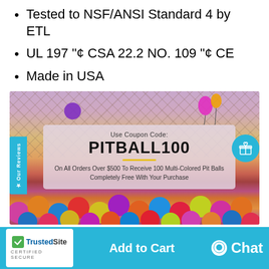Tested to NSF/ANSI Standard 4 by ETL
UL 197 "¢ CSA 22.2 NO. 109 "¢ CE
Made in USA
[Figure (photo): Promotional image of a ball pit with colorful plastic balls and a coupon overlay. Coupon reads: Use Coupon Code: PITBALL100. On All Orders Over $500 To Receive 100 Multi-Colored Pit Balls Completely Free With Your Purchase. Also shows 'Our Reviews' tab and gift icon.]
Add to Cart
Chat